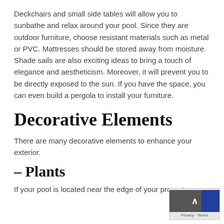Deckchairs and small side tables will allow you to sunbathe and relax around your pool. Since they are outdoor furniture, choose resistant materials such as metal or PVC. Mattresses should be stored away from moisture. Shade sails are also exciting ideas to bring a touch of elegance and aestheticism. Moreover, it will prevent you to be directly exposed to the sun. If you have the space, you can even build a pergola to install your furniture.
Decorative Elements
There are many decorative elements to enhance your exterior.
– Plants
If your pool is located near the edge of your property, a